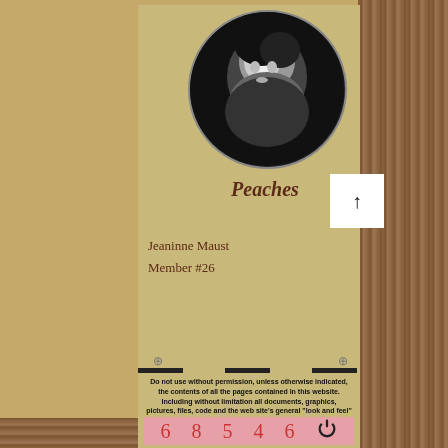[Figure (photo): Circular black and white profile photo of a person]
Peaches
Jeaninne Maust
Member #26
Do not use without permission, unless otherwise indicated, the contents of all the pages contained in this website. Including without limitation all documents, graphics, pictures, files, code and the web site's general "look and feel"
EMAIL: muleskinners@netscape.net
6  8  5  4  6